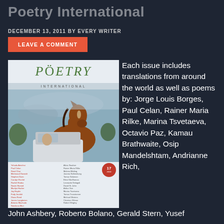Poetry International
DECEMBER 13, 2011 BY EVERY WRITER
LEAVE A COMMENT
[Figure (photo): Cover of Poetry International magazine issue 17 (2010), featuring a brown horse and the text POETRY INTERNATIONAL with a list of contributors.]
Each issue includes translations from around the world as well as poems by: Jorge Louis Borges, Paul Celan, Rainer Maria Rilke, Marina Tsvetaeva, Octavio Paz, Kamau Brathwaite, Osip Mandelshtam, Andrianne Rich,
John Ashbery, Roberto Bolano, Gerald Stern, Yusef